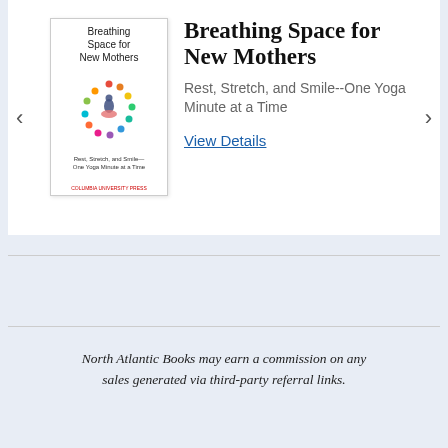[Figure (illustration): Book cover of 'Breathing Space for New Mothers' showing colorful chakra circles around a meditating figure, with subtitle 'Rest, Stretch, and Smile—One Yoga Minute at a Time']
Breathing Space for New Mothers
Rest, Stretch, and Smile--One Yoga Minute at a Time
View Details
North Atlantic Books may earn a commission on any sales generated via third-party referral links.